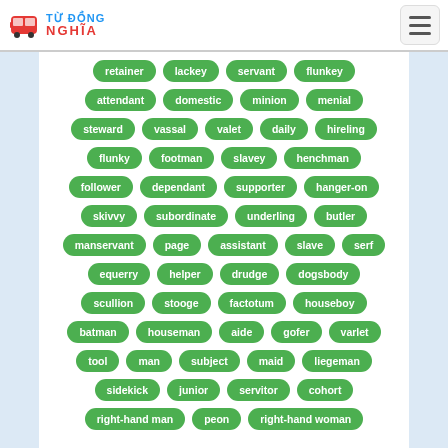TỪ ĐỒNG NGHĨA
[Figure (screenshot): Tag cloud of synonyms: retainer, lackey, servant, flunkey, attendant, domestic, minion, menial, steward, vassal, valet, daily, hireling, flunky, footman, slavey, henchman, follower, dependant, supporter, hanger-on, skivvy, subordinate, underling, butler, manservant, page, assistant, slave, serf, equerry, helper, drudge, dogsbody, scullion, stooge, factotum, houseboy, batman, houseman, aide, gofer, varlet, tool, man, subject, maid, liegeman, sidekick, junior, servitor, cohort, right-hand man, peon, right-hand woman]